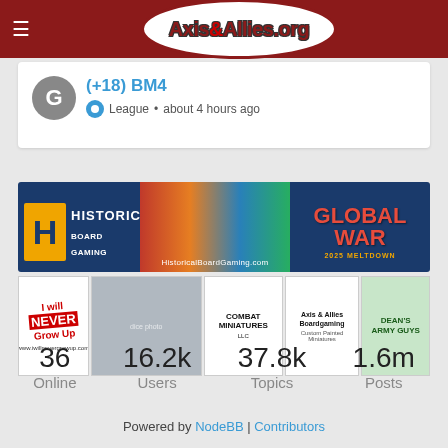Axis&Allies.org
(+18) BM4
League • about 4 hours ago
[Figure (photo): Historical Board Gaming banner ad featuring HBG logo, country flags, Global War 2025 Meltdown text and gold seal]
[Figure (photo): Sponsor strip with four sponsor logos: I Will Never Grow Up (dice/gaming supplies), Combat Miniatures LLC, Axis & Allies Boardgaming Custom Painted Miniatures, Dean's Army Guys]
36 Online
16.2k Users
37.8k Topics
1.6m Posts
Powered by NodeBB | Contributors